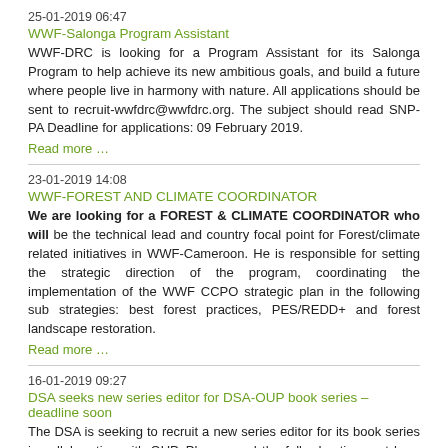25-01-2019 06:47
WWF-Salonga Program Assistant
WWF-DRC is looking for a Program Assistant for its Salonga Program to help achieve its new ambitious goals, and build a future where people live in harmony with nature. All applications should be sent to recruit-wwfdrc@wwfdrc.org. The subject should read SNP-PA Deadline for applications: 09 February 2019.
Read more …
23-01-2019 14:08
WWF-FOREST AND CLIMATE COORDINATOR
We are looking for a FOREST & CLIMATE COORDINATOR who will be the technical lead and country focal point for Forest/climate related initiatives in WWF-Cameroon. He is responsible for setting the strategic direction of the program, coordinating the implementation of the WWF CCPO strategic plan in the following sub strategies: best forest practices, PES/REDD+ and forest landscape restoration.
Read more …
16-01-2019 09:27
DSA seeks new series editor for DSA-OUP book series – deadline soon
The DSA is seeking to recruit a new series editor for its book series in collaboration with OUP. Please read the full advertisement here where you will also find out how to apply. The application form can be downloaded here. You can find out more about the book series here.
Read more …
14-01-2019 12:48
FTNS-Search for a Private Real Estate Manager – Overview and a Private Real Estate Manager - Questionnaire
In progress text cut off at bottom...